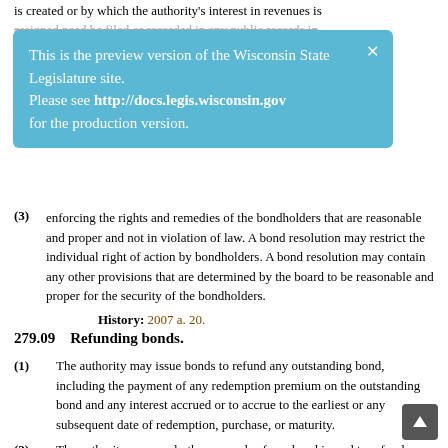is created or by which the authority's interest in revenues is assigned need be filed or recorded in any public records in
[Figure (screenshot): Preview overlay banner for Wisconsin State Legislature site: 'This is the preview version of the Wisconsin State Legislature site. Please see http://docs.legis.wisconsin.gov for the production version.']
(3) enforcing the rights and remedies of the bondholders that are reasonable and proper and not in violation of law. A bond resolution may restrict the individual right of action by bondholders. A bond resolution may contain any other provisions that are determined by the board to be reasonable and proper for the security of the bondholders.
History: 2007 a. 20.
279.09    Refunding bonds.
(1) The authority may issue bonds to refund any outstanding bond, including the payment of any redemption premium on the outstanding bond and any interest accrued or to accrue to the earliest or any subsequent date of redemption, purchase, or maturity.
(2) The authority may apply the proceeds of any bond issued to refund any outstanding bond to the purchase, retirement at maturity, or redemption of the outstanding bond on the earliest or any subsequent redemption date, upon purchase, or at the maturity of the bond. The authority may, pending application